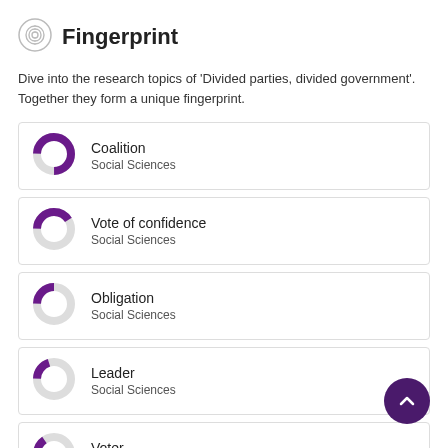Fingerprint
Dive into the research topics of 'Divided parties, divided government'. Together they form a unique fingerprint.
[Figure (donut-chart): Donut chart for Coalition - approximately 75% filled purple]
[Figure (donut-chart): Donut chart for Vote of confidence - approximately 40% filled purple]
[Figure (donut-chart): Donut chart for Obligation - approximately 25% filled purple]
[Figure (donut-chart): Donut chart for Leader - approximately 20% filled purple]
[Figure (donut-chart): Donut chart for Voter - approximately 15% filled purple]